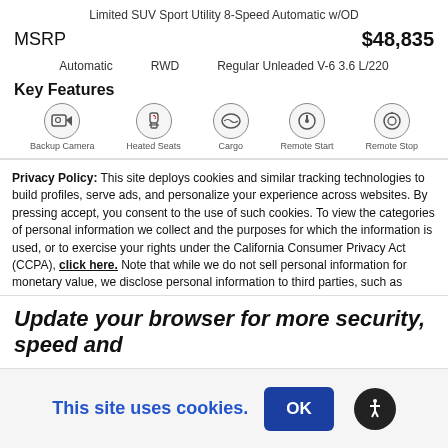Limited SUV Sport Utility 8-Speed Automatic w/OD
MSRP  $48,835
Automatic   RWD   Regular Unleaded V-6 3.6 L/220
Key Features
[Figure (infographic): Row of 5 key feature icons: Backup Camera, heated seats, cargo, remote start, and remote start/stop icons]
Privacy Policy: This site deploys cookies and similar tracking technologies to build profiles, serve ads, and personalize your experience across websites. By pressing accept, you consent to the use of such cookies. To view the categories of personal information we collect and the purposes for which the information is used, or to exercise your rights under the California Consumer Privacy Act (CCPA), click here. Note that while we do not sell personal information for monetary value, we disclose personal information to third parties, such as vehicle manufacturers, in such a way that may be considered a "sale" of personal information under the CCPA. To direct us to stop the sale of your personal information, or to re-access these settings or disclosures at anytime, click the following icon or link:
Do Not Sell My Personal Information
Language: English
Powered by ComplyAuto
Accept and Continue →
California Privacy Disclosures
Update your browser for more security, speed and
This site uses cookies.